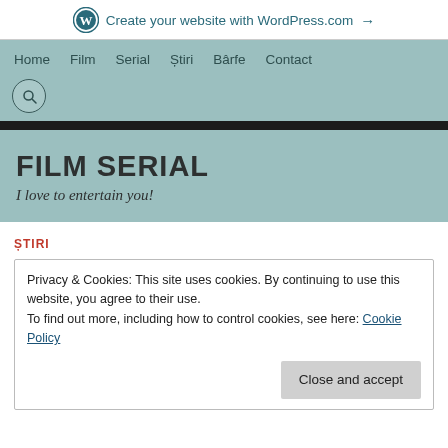Create your website with WordPress.com →
Home  Film  Serial  Știri  Bârfe  Contact
FILM SERIAL
I love to entertain you!
ȘTIRI
Privacy & Cookies: This site uses cookies. By continuing to use this website, you agree to their use. To find out more, including how to control cookies, see here: Cookie Policy  Close and accept